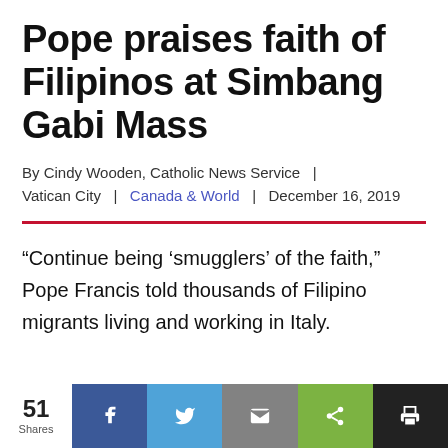Pope praises faith of Filipinos at Simbang Gabi Mass
By Cindy Wooden, Catholic News Service  |  Vatican City  |  Canada & World  |  December 16, 2019
“Continue being ‘smugglers’ of the faith,” Pope Francis told thousands of Filipino migrants living and working in Italy.
51 Shares | Facebook | Twitter | Email | Share | Print